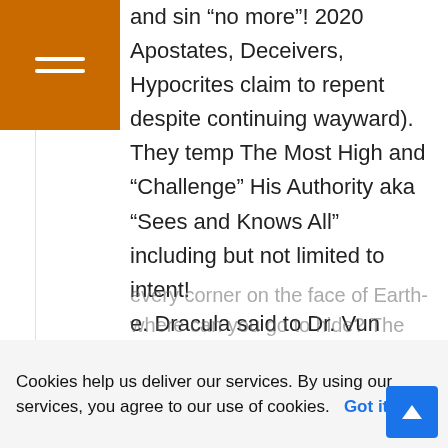[Figure (other): Orange sidebar with hamburger menu icon (two horizontal lines)]
and sin “no more”! 2020 Apostates, Deceivers, Hypocrites claim to repent despite continuing wayward). They temp The Most High and “Challenge” His Authority aka “Sees and Knows All” including but not limited to intent!
e. Dracula said to Dr. Vun Helsing after being pinned down by him? You cause me to pause now! However…, “I will find you again! I have lived long enough to visit every corner on the face of Earth- where can you go to hide? The
Cookies help us deliver our services. By using our services, you agree to our use of cookies.  Got it